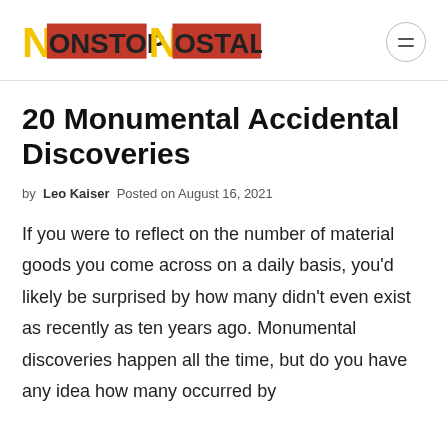NonStop Nostalgia
20 Monumental Accidental Discoveries
by Leo Kaiser  Posted on August 16, 2021
If you were to reflect on the number of material goods you come across on a daily basis, you'd likely be surprised by how many didn't even exist as recently as ten years ago. Monumental discoveries happen all the time, but do you have any idea how many occurred by